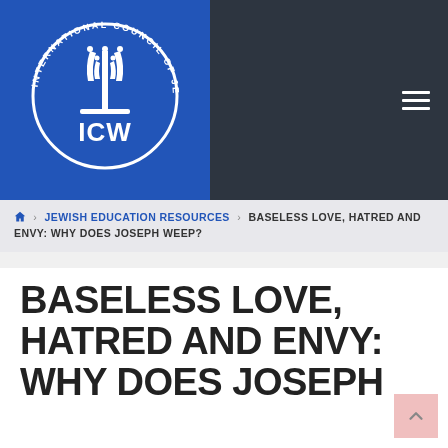[Figure (logo): International Council of Jewish Women (ICJW) logo — white menorah and letters ICW on a blue background with circular text reading INTERNATIONAL COUNCIL OF JEWISH WOMEN]
🏠 > JEWISH EDUCATION RESOURCES > BASELESS LOVE, HATRED AND ENVY: WHY DOES JOSEPH WEEP?
BASELESS LOVE, HATRED AND ENVY: WHY DOES JOSEPH